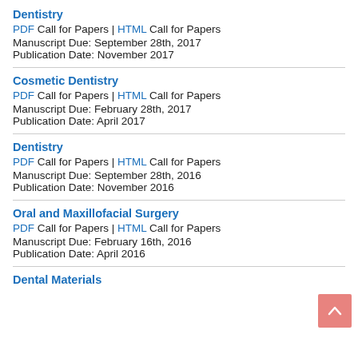Dentistry
PDF Call for Papers | HTML Call for Papers
Manuscript Due: September 28th, 2017
Publication Date: November 2017
Cosmetic Dentistry
PDF Call for Papers | HTML Call for Papers
Manuscript Due: February 28th, 2017
Publication Date: April 2017
Dentistry
PDF Call for Papers | HTML Call for Papers
Manuscript Due: September 28th, 2016
Publication Date: November 2016
Oral and Maxillofacial Surgery
PDF Call for Papers | HTML Call for Papers
Manuscript Due: February 16th, 2016
Publication Date: April 2016
Dental Materials